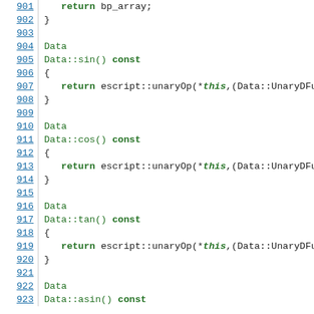[Figure (screenshot): Source code viewer showing C++ code lines 901-923, with line numbers on the left linked/underlined in blue, and code content on the right. Shows functions Data::sin(), Data::cos(), Data::tan(), and Data::asin() with return statements using escript::unaryOp.]